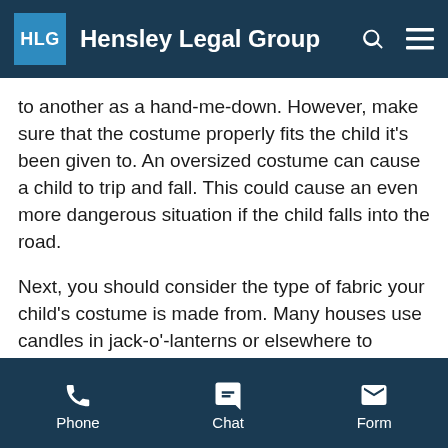Hensley Legal Group
to another as a hand-me-down. However, make sure that the costume properly fits the child it's been given to. An oversized costume can cause a child to trip and fall. This could cause an even more dangerous situation if the child falls into the road.
Next, you should consider the type of fabric your child's costume is made from. Many houses use candles in jack-o'-lanterns or elsewhere to create a spooky atmosphere. Your child's costume should be flame resistant in case an accident happens.
You should also choose fabric that's brightly colored so your child can be seen in the dark. If your child's
Phone  Chat  Form